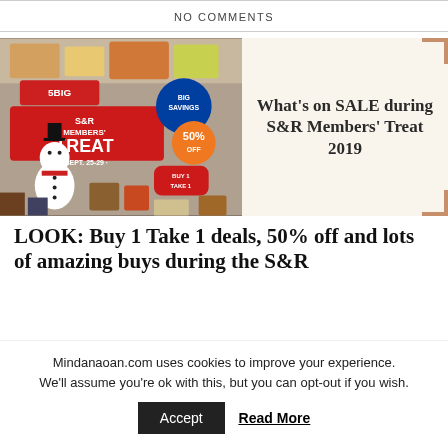NO COMMENTS
[Figure (photo): Photo of S&R Members' Treat 2019 store display with snowman decoration and promotional banners showing Buy 1 Take 1, 50% off, Sept. 25-29 deals, alongside a cream-colored panel with text 'What's on SALE during S&R Members' Treat 2019']
LOOK: Buy 1 Take 1 deals, 50% off and lots of amazing buys during the S&R
Mindanaoan.com uses cookies to improve your experience. We'll assume you're ok with this, but you can opt-out if you wish.